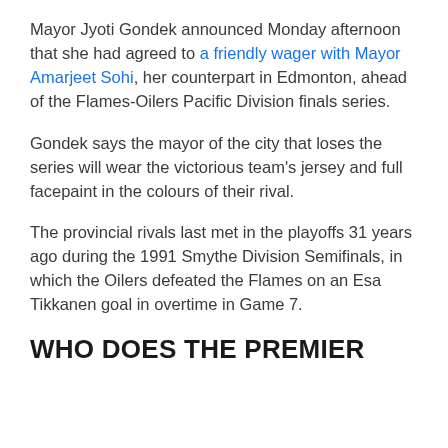Mayor Jyoti Gondek announced Monday afternoon that she had agreed to a friendly wager with Mayor Amarjeet Sohi, her counterpart in Edmonton, ahead of the Flames-Oilers Pacific Division finals series.
Gondek says the mayor of the city that loses the series will wear the victorious team's jersey and full facepaint in the colours of their rival.
The provincial rivals last met in the playoffs 31 years ago during the 1991 Smythe Division Semifinals, in which the Oilers defeated the Flames on an Esa Tikkanen goal in overtime in Game 7.
WHO DOES THE PREMIER